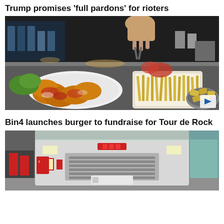Trump promises 'full pardons' for rioters
[Figure (photo): A hand preparing food over a plate of fried chicken with red sauce and a tray of french fries on a kitchen counter]
Bin4 launches burger to fundraise for Tour de Rock
[Figure (photo): Front view of a large truck/bus in a garage setting]